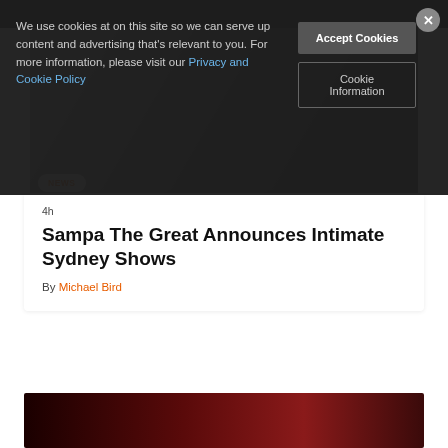We use cookies at on this site so we can serve up content and advertising that's relevant to you. For more information, please visit our Privacy and Cookie Policy
Accept Cookies
Cookie Information
[Figure (photo): Person dressed in black clothing against light background]
NEWS
4h
Sampa The Great Announces Intimate Sydney Shows
By Michael Bird
[Figure (photo): Partial view of another article image with dark red background]